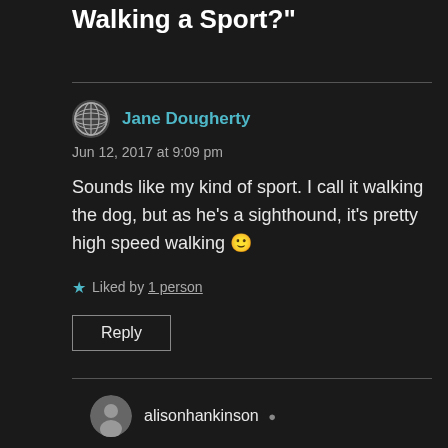Walking a Sport?"
Jane Dougherty
Jun 12, 2017 at 9:09 pm
Sounds like my kind of sport. I call it walking the dog, but as he’s a sighthound, it’s pretty high speed walking 🙂
Liked by 1 person
Reply
alisonhankinson